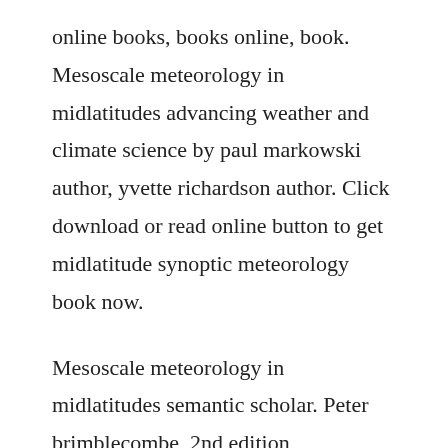online books, books online, book. Mesoscale meteorology in midlatitudes advancing weather and climate science by paul markowski author, yvette richardson author. Click download or read online button to get midlatitude synoptic meteorology book now.
Mesoscale meteorology in midlatitudes semantic scholar. Peter brimblecombe, 2nd edition atmospheric chemistry and physics. Download it once and read it on your kindle device, pc, phones or tablets. A mesoscale convective system mcs is a complex of